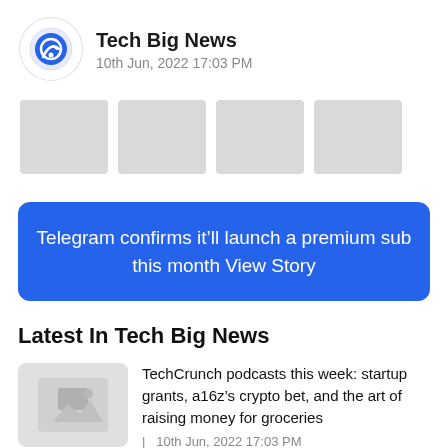Tech Big News — 10th Jun, 2022 17:03 PM
[Figure (other): Four gray placeholder thumbnail squares in a row]
Telegram confirms it’ll launch a premium sub this month View Story
Latest In Tech Big News
[Figure (photo): Gray placeholder image thumbnail for TechCrunch podcasts article]
TechCrunch podcasts this week: startup grants, a16z’s crypto bet, and the art of raising money for groceries
10th Jun, 2022 17:03 PM